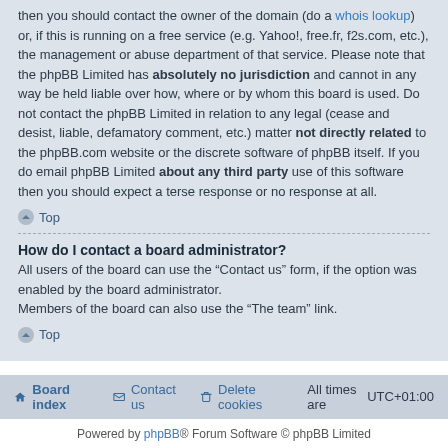then you should contact the owner of the domain (do a whois lookup) or, if this is running on a free service (e.g. Yahoo!, free.fr, f2s.com, etc.), the management or abuse department of that service. Please note that the phpBB Limited has absolutely no jurisdiction and cannot in any way be held liable over how, where or by whom this board is used. Do not contact the phpBB Limited in relation to any legal (cease and desist, liable, defamatory comment, etc.) matter not directly related to the phpBB.com website or the discrete software of phpBB itself. If you do email phpBB Limited about any third party use of this software then you should expect a terse response or no response at all.
Top
How do I contact a board administrator?
All users of the board can use the “Contact us” form, if the option was enabled by the board administrator.
Members of the board can also use the “The team” link.
Top
Board index  Contact us  Delete cookies  All times are UTC+01:00
Powered by phpBB® Forum Software © phpBB Limited
Privacy | Terms